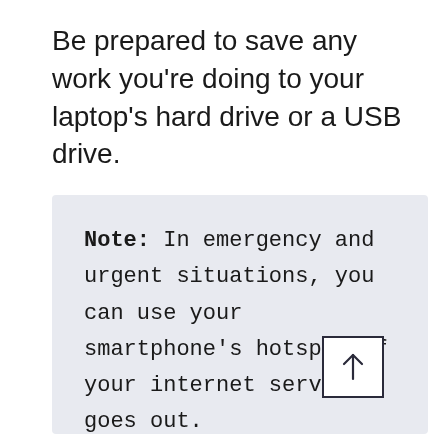Be prepared to save any work you're doing to your laptop's hard drive or a USB drive.
Note: In emergency and urgent situations, you can use your smartphone's hotspot if your internet service goes out.